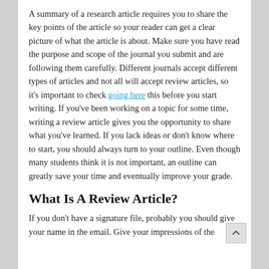A summary of a research article requires you to share the key points of the article so your reader can get a clear picture of what the article is about. Make sure you have read the purpose and scope of the journal you submit and are following them carefully. Different journals accept different types of articles and not all will accept review articles, so it's important to check going here this before you start writing. If you've been working on a topic for some time, writing a review article gives you the opportunity to share what you've learned. If you lack ideas or don't know where to start, you should always turn to your outline. Even though many students think it is not important, an outline can greatly save your time and eventually improve your grade.
What Is A Review Article?
If you don't have a signature file, probably you should give your name in the email. Give your impressions of the